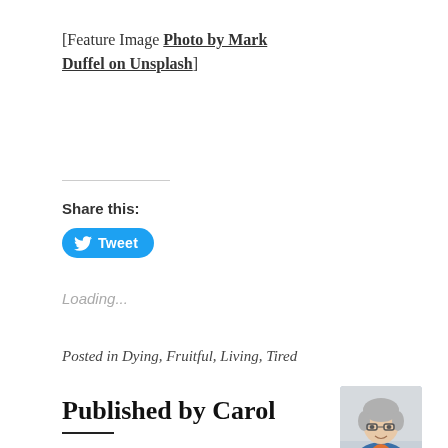[Feature Image Photo by Mark Duffel on Unsplash]
Share this:
Tweet
Loading...
Posted in Dying, Fruitful, Living, Tired
Published by Carol
An ordinary Christian following an
[Figure (photo): Portrait photo of Carol, a woman with short gray hair and glasses, wearing a blue jacket over an orange top, photographed against a light background.]